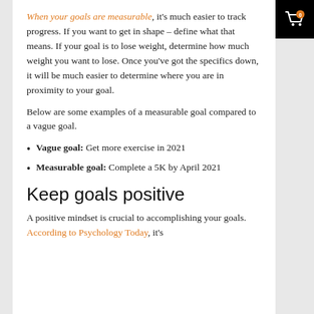When your goals are measurable, it's much easier to track progress. If you want to get in shape – define what that means. If your goal is to lose weight, determine how much weight you want to lose. Once you've got the specifics down, it will be much easier to determine where you are in proximity to your goal.
Below are some examples of a measurable goal compared to a vague goal.
Vague goal: Get more exercise in 2021
Measurable goal: Complete a 5K by April 2021
Keep goals positive
A positive mindset is crucial to accomplishing your goals. According to Psychology Today, it's